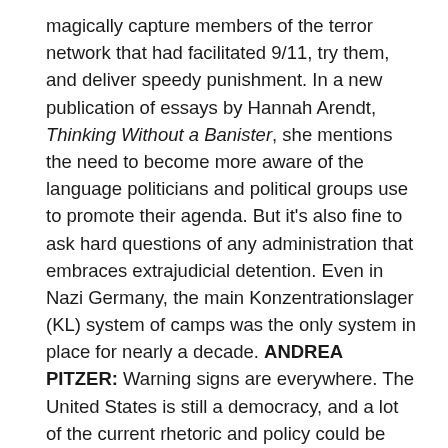magically capture members of the terror network that had facilitated 9/11, try them, and deliver speedy punishment. In a new publication of essays by Hannah Arendt, Thinking Without a Banister, she mentions the need to become more aware of the language politicians and political groups use to promote their agenda. But it's also fine to ask hard questions of any administration that embraces extrajudicial detention. Even in Nazi Germany, the main Konzentrationslager (KL) system of camps was the only system in place for nearly a decade. ANDREA PITZER: Warning signs are everywhere. The United States is still a democracy, and a lot of the current rhetoric and policy could be reversed by future presidents. Unfortunately, history has shown that these things can happen anywhere, but in robust democracies, there tend to be more mechanisms to limit, reverse, or stop the process. It is with a sense of hope that the